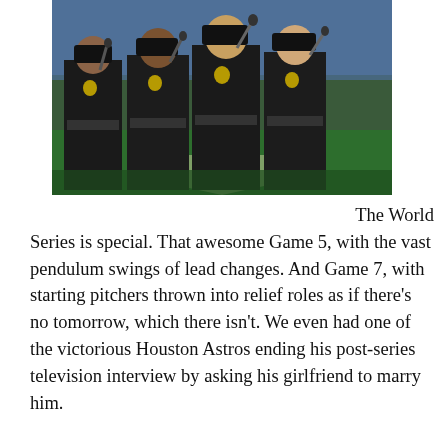[Figure (photo): Four police officers in dark uniforms standing on a baseball field holding microphones, appearing to sing the national anthem at a World Series game, with a large crowd visible in the background.]
The World Series is special. That awesome Game 5, with the vast pendulum swings of lead changes. And Game 7, with starting pitchers thrown into relief roles as if there's no tomorrow, which there isn't. We even had one of the victorious Houston Astros ending his post-series television interview by asking his girlfriend to marry him.

And at the opening ceremony of the final game, we